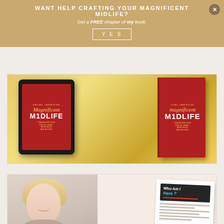WANT HELP CRAFTING YOUR MAGNIFICENT MIDLIFE?
Get a FREE chapter of my book.
YES
[Figure (photo): Book mockup showing 'Magnificent Midlife' by Rachel Lankester on both a tablet screen and physical book, red cover with gold title text, subtitle 'Transform Your Middle Years, Menopause and Beyond']
[Figure (photo): Collage showing a smiling blonde woman holding a phone and a note card with 'Who Am I Here?' text on a chalkboard background, with lines of text below]